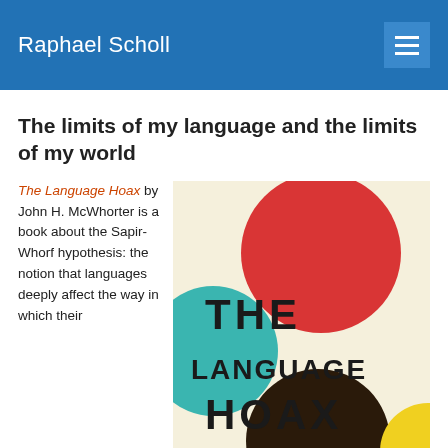Raphael Scholl
The limits of my language and the limits of my world
The Language Hoax by John H. McWhorter is a book about the Sapir-Whorf hypothesis: the notion that languages deeply affect the way in which their
[Figure (photo): Book cover of 'The Language Hoax' by John H. McWhorter showing colorful overlapping circles (red, teal, dark brown, yellow) on a cream background with the title text in large sans-serif letters.]